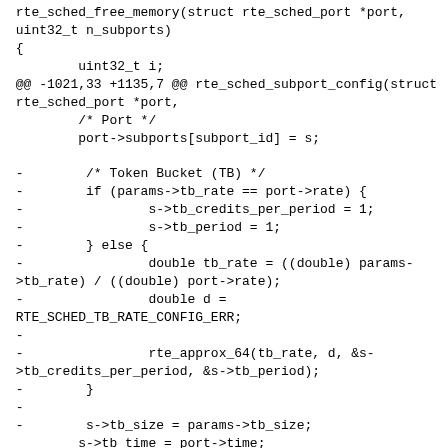rte_sched_free_memory(struct rte_sched_port *port,
uint32_t n_subports)
{
        uint32_t i;
@@ -1021,33 +1135,7 @@ rte_sched_subport_config(struct
rte_sched_port *port,
        /* Port */
        port->subports[subport_id] = s;

-        /* Token Bucket (TB) */
-        if (params->tb_rate == port->rate) {
-                s->tb_credits_per_period = 1;
-                s->tb_period = 1;
-        } else {
-                double tb_rate = ((double) params-
>tb_rate) / ((double) port->rate);
-                double d =
RTE_SCHED_TB_RATE_CONFIG_ERR;
-
-                rte_approx_64(tb_rate, d, &s-
>tb_credits_per_period, &s->tb_period);
-        }
-
-        s->tb_size = params->tb_size;
        s->tb_time = port->time;
-        s->tb_credits = s->tb_size / 2;
-
-        /* Traffic Classes (TCs) */
-        s->tc_period =
rte_sched_time_ms_to_bytes(params->tc_period, port-
>rate);